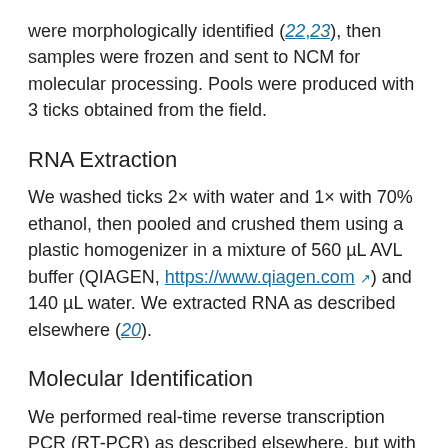were morphologically identified (22,23), then samples were frozen and sent to NCM for molecular processing. Pools were produced with 3 ticks obtained from the field.
RNA Extraction
We washed ticks 2× with water and 1× with 70% ethanol, then pooled and crushed them using a plastic homogenizer in a mixture of 560 µL AVL buffer (QIAGEN, https://www.qiagen.com) and 140 µL water. We extracted RNA as described elsewhere (20).
Molecular Identification
We performed real-time reverse transcription PCR (RT-PCR) as described elsewhere, but with slight